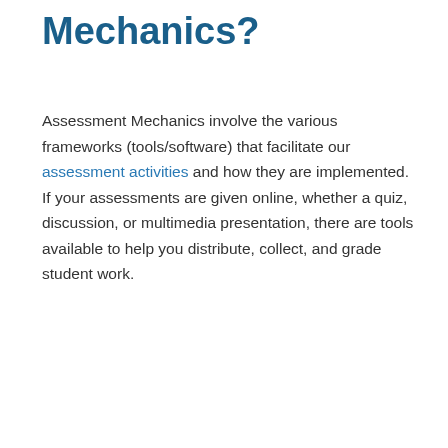Mechanics?
Assessment Mechanics involve the various frameworks (tools/software) that facilitate our assessment activities and how they are implemented. If your assessments are given online, whether a quiz, discussion, or multimedia presentation, there are tools available to help you distribute, collect, and grade student work.